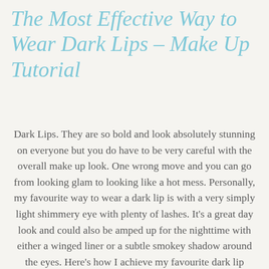The Most Effective Way to Wear Dark Lips – Make Up Tutorial
Dark Lips. They are so bold and look absolutely stunning on everyone but you do have to be very careful with the overall make up look. One wrong move and you can go from looking glam to looking like a hot mess. Personally, my favourite way to wear a dark lip is with a very simply light shimmery eye with plenty of lashes. It's a great day look and could also be amped up for the nighttime with either a winged liner or a subtle smokey shadow around the eyes. Here's how I achieve my favourite dark lip look..